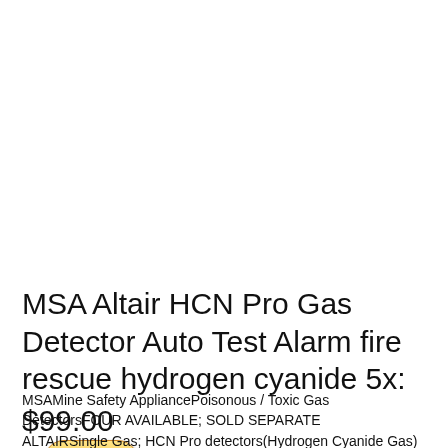[Figure (other): Buy Now button styled as a gold/yellow rounded pill button with italic bold dark blue text]
MSA Altair HCN Pro Gas Detector Auto Test Alarm fire rescue hydrogen cyanide 5x:
$99.00
MSAMine Safety AppliancePoisonous / Toxic Gas DetectorsFOUR AVAILABLE; SOLD SEPARATE
ALTAIRSingle Gas; HCN Pro detectors(Hydrogen Cyanide Gas)
All units will be shipped with brand new CR2 lithium batteryUsed,